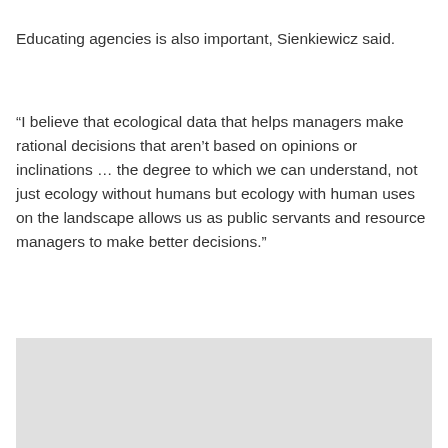Educating agencies is also important, Sienkiewicz said.
“I believe that ecological data that helps managers make rational decisions that aren’t based on opinions or inclinations … the degree to which we can understand, not just ecology without humans but ecology with human uses on the landscape allows us as public servants and resource managers to make better decisions.”
[Figure (other): Light gray rectangular image placeholder at the bottom of the page with a teal/blue scroll-to-top button in the bottom right corner containing an upward arrow.]